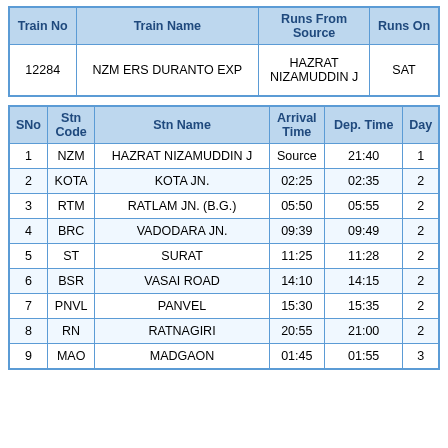| Train No | Train Name | Runs From Source | Runs On |
| --- | --- | --- | --- |
| 12284 | NZM ERS DURANTO EXP | HAZRAT NIZAMUDDIN J | SAT |
| SNo | Stn Code | Stn Name | Arrival Time | Dep. Time | Day |
| --- | --- | --- | --- | --- | --- |
| 1 | NZM | HAZRAT NIZAMUDDIN J | Source | 21:40 | 1 |
| 2 | KOTA | KOTA JN. | 02:25 | 02:35 | 2 |
| 3 | RTM | RATLAM JN. (B.G.) | 05:50 | 05:55 | 2 |
| 4 | BRC | VADODARA JN. | 09:39 | 09:49 | 2 |
| 5 | ST | SURAT | 11:25 | 11:28 | 2 |
| 6 | BSR | VASAI ROAD | 14:10 | 14:15 | 2 |
| 7 | PNVL | PANVEL | 15:30 | 15:35 | 2 |
| 8 | RN | RATNAGIRI | 20:55 | 21:00 | 2 |
| 9 | MAO | MADGAON | 01:45 | 01:55 | 3 |